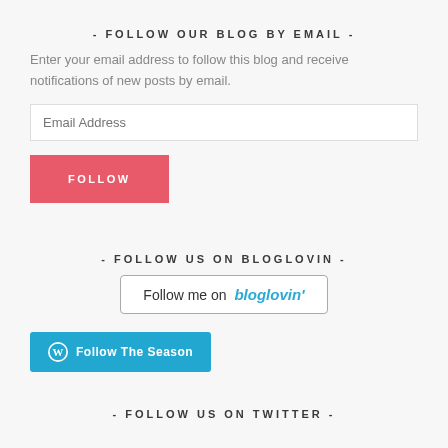- FOLLOW OUR BLOG BY EMAIL -
Enter your email address to follow this blog and receive notifications of new posts by email.
Email Address
FOLLOW
- FOLLOW US ON BLOGLOVIN -
Follow me on bloglovin'
Follow The Season
- FOLLOW US ON TWITTER -